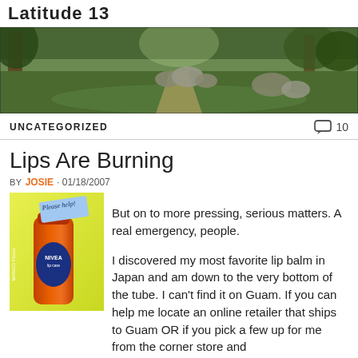Latitude 13
[Figure (photo): Panoramic photo of a lush green garden path with large stones and trees]
UNCATEGORIZED   10
Lips Are Burning
BY JOSIE · 01/18/2007
[Figure (photo): Orange Nivea Mango Flavor lip balm with a sticky note saying 'Please help!']
But on to more pressing, serious matters. A real emergency, people.
I discovered my most favorite lip balm in Japan and am down to the very bottom of the tube. I can't find it on Guam. If you can help me locate an online retailer that ships to Guam OR if you pick a few up for me from the corner store and